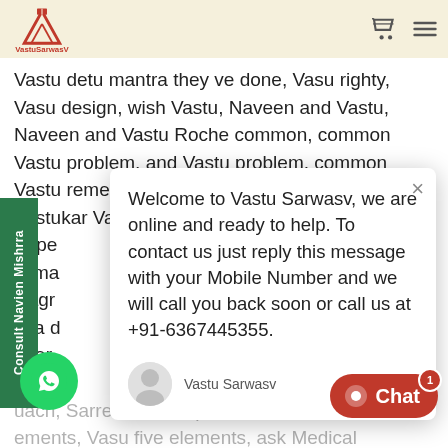VastuSarwasV
Vastu detu mantra they ve done, Vasu righty, Vasu design, wish Vastu, Naveen and Vastu, Naveen and Vastu Roche common, common Vastu problem, and Vastu problem, common Vastu remedies, major bhaskar remedies, Vastukar Vastu expert in Jaipur Vasu expert bhas Expe Ji ma Nagr in a d Inter m uach, Sarret Vastu expert, Vasu ements, Vasu five elements, ask Medical u east facing, Vastu west facing Sarwasv, Vastu South fishing, Vastu North
Welcome to Vastu Sarwasv, we are online and ready to help. To contact us just reply this message with your Mobile Number and we will call you back soon or call us at +91-6367445355.
Vastu Sarwasv    just now
Consult Navien Mishrra